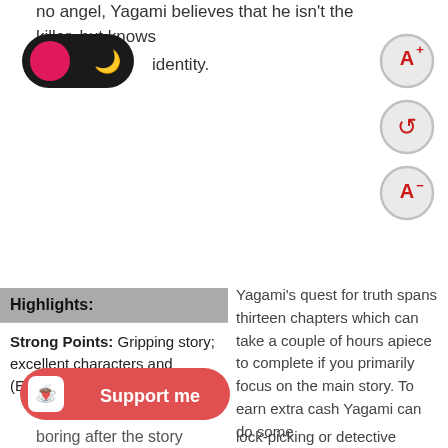no angel, Yagami believes that he isn't the killer, but knows identity.
[Figure (screenshot): Dark mode toggle switch widget, showing a pink/red circle on the left and a moon icon on dark background]
[Figure (screenshot): Three font size adjustment buttons: A+ (increase), refresh/reset, A- (decrease), styled as circles with red text on light grey background]
| Highlights: |
| --- |
| Strong Points: Gripping story; excellent characters and (English) voice acting; |
| ...gets boring after the story... |
[Figure (screenshot): Support me button with Ko-fi cup icon in red/coral color]
Yagami's quest for truth spans thirteen chapters which can take a couple of hours apiece to complete if you primarily focus on the main story. To earn extra cash Yagami can do some lock-picking or detective
boring after the story
lock-picking or detective